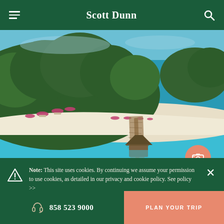Scott Dunn
[Figure (photo): Aerial view of a tropical island resort with white sand beach, turquoise water, palm trees, beach umbrellas with chairs, and an overwater bungalow with thatched roof at the end of a wooden pier extending into the ocean.]
Note: This site uses cookies. By continuing we assume your permission to use cookies, as detailed in our privacy and cookie policy. See policy >>
858 523 9000
PLAN YOUR TRIP